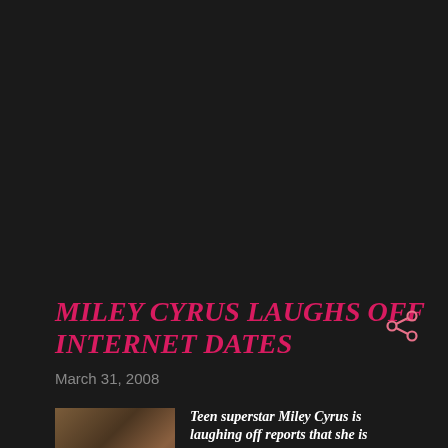MILEY CYRUS LAUGHS OFF INTERNET DATES
March 31, 2008
[Figure (photo): Small thumbnail photo of Miley Cyrus]
Teen superstar Miley Cyrus is laughing off reports that she is